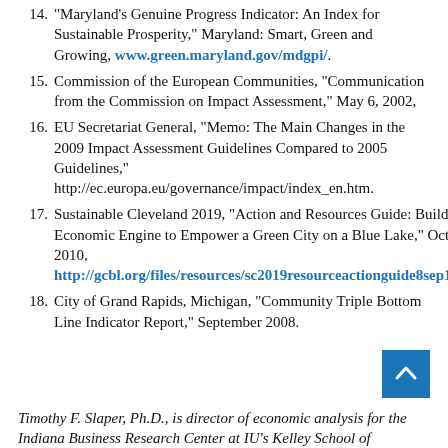14. "Maryland's Genuine Progress Indicator: An Index for Sustainable Prosperity," Maryland: Smart, Green and Growing, www.green.maryland.gov/mdgpi/.
15. Commission of the European Communities, "Communication from the Commission on Impact Assessment," May 6, 2002,
16. EU Secretariat General, "Memo: The Main Changes in the 2009 Impact Assessment Guidelines Compared to 2005 Guidelines," http://ec.europa.eu/governance/impact/index_en.htm.
17. Sustainable Cleveland 2019, "Action and Resources Guide: Building an Economic Engine to Empower a Green City on a Blue Lake," October 2010, http://gcbl.org/files/resources/sc2019resourceactionguide8sep10.pdf.
18. City of Grand Rapids, Michigan, "Community Triple Bottom Line Indicator Report," September 2008.
Timothy F. Slaper, Ph.D., is director of economic analysis for the Indiana Business Research Center at IU's Kelley School of